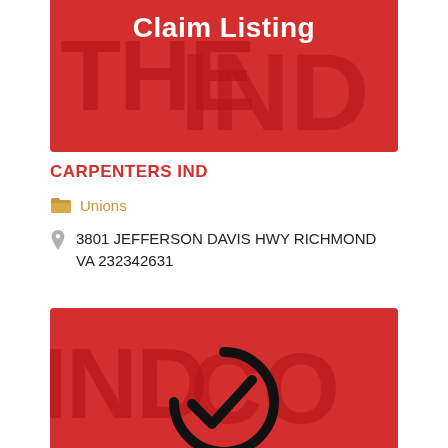[Figure (illustration): Red banner with 'Claim Listing' text in bold white on a red background with a faded watermark logo]
CARPENTERS IND
Unions
3801 JEFFERSON DAVIS HWY RICHMOND VA 232342631
[Figure (illustration): Red banner with a large black circular checkmark icon in the center on a red background with faded watermark]